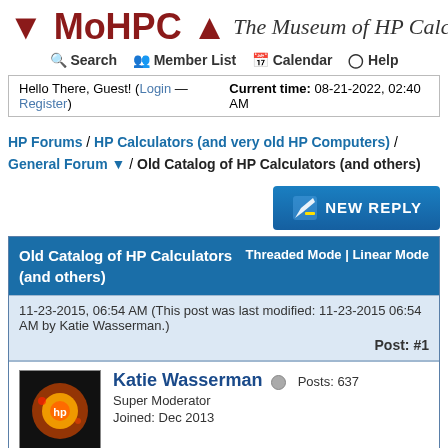↓ MoHPC ↑  The Museum of HP Calcu...
Search  Member List  Calendar  Help
Hello There, Guest! (Login — Register)  Current time: 08-21-2022, 02:40 AM
HP Forums / HP Calculators (and very old HP Computers) / General Forum ▼ / Old Catalog of HP Calculators (and others)
NEW REPLY
| Old Catalog of HP Calculators (and others) | Threaded Mode | Linear Mode |
| --- | --- |
| 11-23-2015, 06:54 AM (This post was last modified: 11-23-2015 06:54 AM by Katie Wasserman.) | Post: #1 |
| [avatar] Katie Wasserman  Posts: 637  Super Moderator  Joined: Dec 2013 |  |
Old Catalog of HP Calculators (and others)
Thanks to Gene for scanning the 1982-1983 Olympic Sales